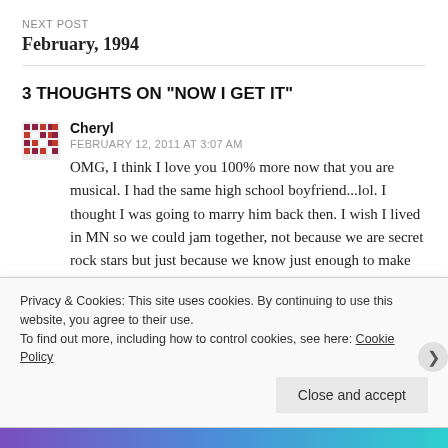NEXT POST
February, 1994
3 THOUGHTS ON “NOW I GET IT”
Cheryl
FEBRUARY 12, 2011 AT 3:07 AM
OMG, I think I love you 100% more now that you are musical. I had the same high school boyfriend...lol. I thought I was going to marry him back then. I wish I lived in MN so we could jam together, not because we are secret rock stars but just because we know just enough to make
Privacy & Cookies: This site uses cookies. By continuing to use this website, you agree to their use.
To find out more, including how to control cookies, see here: Cookie Policy
Close and accept